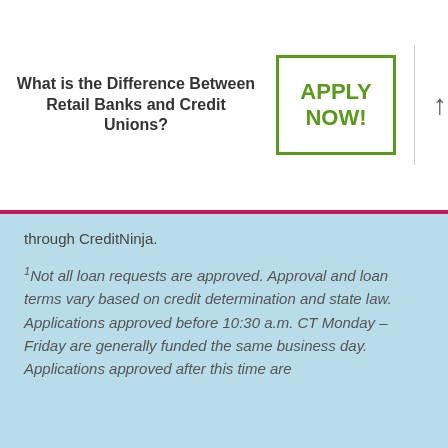What is the Difference Between Retail Banks and Credit Unions?
through CreditNinja.
¹Not all loan requests are approved. Approval and loan terms vary based on credit determination and state law. Applications approved before 10:30 a.m. CT Monday – Friday are generally funded the same business day. Applications approved after this time are